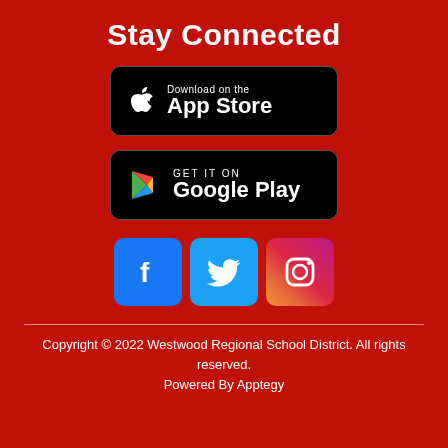Stay Connected
[Figure (logo): App Store download badge — black rounded rectangle with Apple logo and text 'Download on the App Store']
[Figure (logo): Google Play download badge — black rounded rectangle with Google Play triangle logo and text 'GET IT ON Google Play']
[Figure (logo): Social media icons: Facebook (blue), Twitter (light blue), Instagram (gradient pink/purple)]
Copyright © 2022 Westwood Regional School District. All rights reserved. Powered By Apptegy